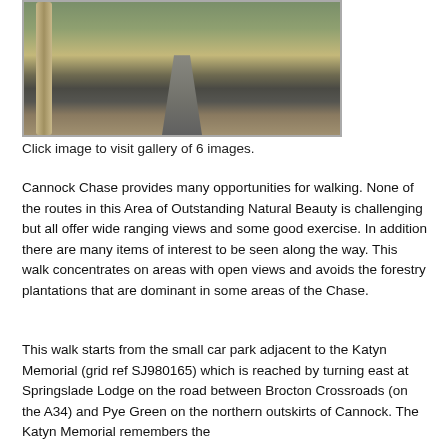[Figure (photo): A path through Cannock Chase heathland, with birch trees on the left, open heathland vegetation on either side, and coniferous trees visible in the background. Two people are visible in the distance on the path.]
Click image to visit gallery of 6 images.
Cannock Chase provides many opportunities for walking. None of the routes in this Area of Outstanding Natural Beauty is challenging but all offer wide ranging views and some good exercise. In addition there are many items of interest to be seen along the way. This walk concentrates on areas with open views and avoids the forestry plantations that are dominant in some areas of the Chase.
This walk starts from the small car park adjacent to the Katyn Memorial (grid ref SJ980165) which is reached by turning east at Springslade Lodge on the road between Brocton Crossroads (on the A34) and Pye Green on the northern outskirts of Cannock. The Katyn Memorial remembers the